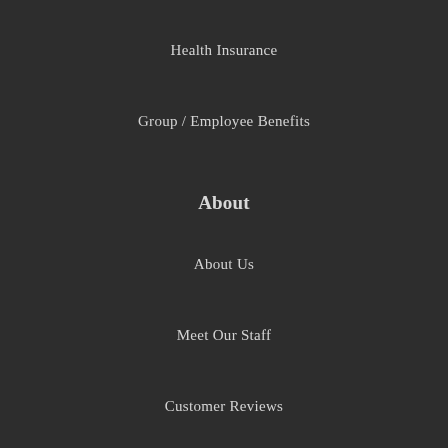Health Insurance
Group / Employee Benefits
About
About Us
Meet Our Staff
Customer Reviews
Insurance Companies